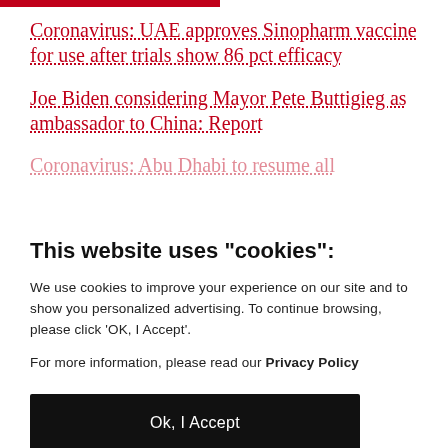Coronavirus: UAE approves Sinopharm vaccine for use after trials show 86 pct efficacy
Joe Biden considering Mayor Pete Buttigieg as ambassador to China: Report
Coronavirus: Abu Dhabi to resume all
This website uses "cookies":
We use cookies to improve your experience on our site and to show you personalized advertising. To continue browsing, please click ‘OK, I Accept’.
For more information, please read our Privacy Policy
Ok, I Accept